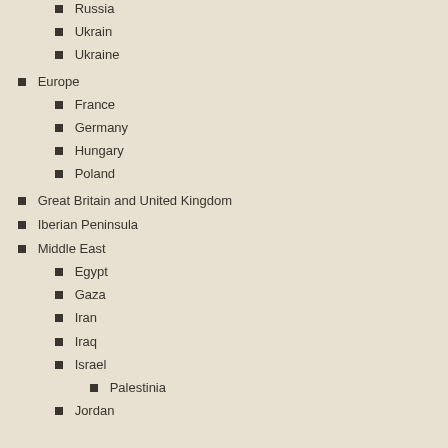Russia
Ukrain
Ukraine
Europe
France
Germany
Hungary
Poland
Great Britain and United Kingdom
Iberian Peninsula
Middle East
Egypt
Gaza
Iran
Iraq
Israel
Palestinia
Jordan